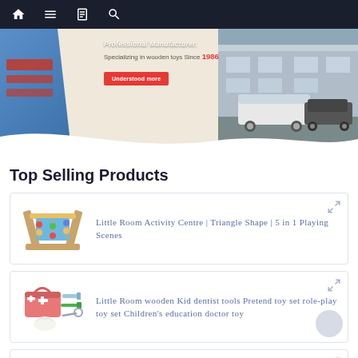Navigation bar with home, menu, notebook, search icons
[Figure (photo): Hero banner: wooden toys company, specializing in wooden toys since 1986, with Understand more button, blue structural element on left, building and van photo on right]
Top Selling Products
[Figure (photo): Product card: Little Room Activity Centre toy image - triangular wooden activity center in blue]
Little Room Activity Centre | Triangle Shape | 5 in 1 Playing Scenes
[Figure (photo): Product card: Little Room wooden Kid dentist tools Pretend toy set - pink medical bag with tools]
Little Room wooden Kid dentist tools Pretend toy set role-play toy set Children's education doctor toy
[Figure (photo): Product card: Little Room Kids Wooden Kitchen Helper Stool - partial view]
Little Room Kids Wooden Kitchen Helper Stool